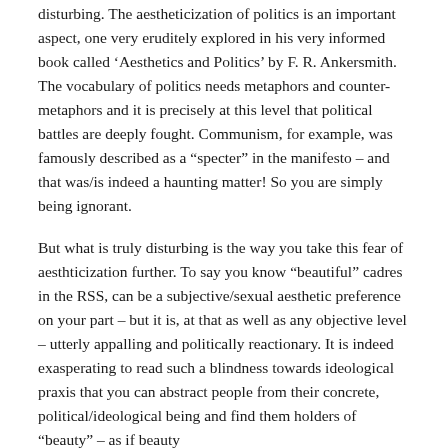disturbing. The aestheticization of politics is an important aspect, one very eruditely explored in his very informed book called ‘Aesthetics and Politics’ by F. R. Ankersmith. The vocabulary of politics needs metaphors and counter-metaphors and it is precisely at this level that political battles are deeply fought. Communism, for example, was famously described as a “specter” in the manifesto – and that was/is indeed a haunting matter! So you are simply being ignorant.
But what is truly disturbing is the way you take this fear of aesthticization further. To say you know “beautiful” cadres in the RSS, can be a subjective/sexual aesthetic preference on your part – but it is, at that as well as any objective level – utterly appalling and politically reactionary. It is indeed exasperating to read such a blindness towards ideological praxis that you can abstract people from their concrete, political/ideological being and find them holders of “beauty” – as if beauty